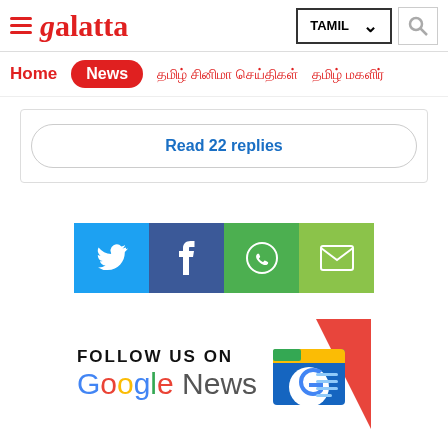Galatta — TAMIL navigation header with search
Home | News | Tamil menu items
Read 22 replies
[Figure (infographic): Social share buttons: Twitter (blue), Facebook (dark blue), WhatsApp (green), Email (yellow-green)]
[Figure (logo): FOLLOW US ON Google News banner with Google News icon]